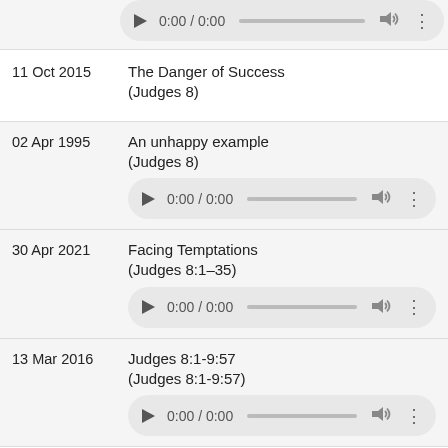[Figure (screenshot): Audio player row at top (partial, cropped)]
11 Oct 2015 — The Danger of Success (Judges 8)
02 Apr 1995 — An unhappy example (Judges 8)
30 Apr 2021 — Facing Temptations (Judges 8:1–35)
13 Mar 2016 — Judges 8:1-9:57 (Judges 8:1-9:57)